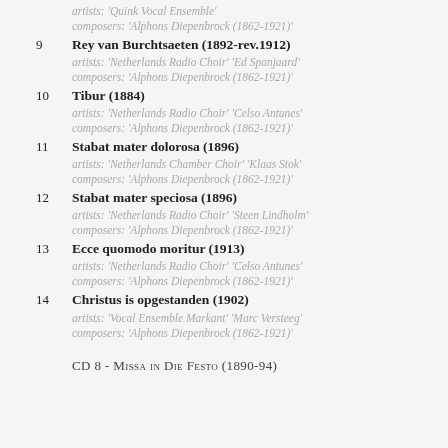artists: 'Quink Vocal Ensemble' composers: 'Alphons Diepenbrock (1862-1921)'
9  Rey van Burchtsaeten (1892-rev.1912)
artists: 'Netherlands Radio Choir' 'Ed Spanjaard'
composers: 'Alphons Diepenbrock (1862-1921)'
10  Tibur (1884)
artists: 'Netherlands Radio Choir' 'Celso Antunes'
composers: 'Alphons Diepenbrock (1862-1921)'
11  Stabat mater dolorosa (1896)
artists: 'Netherlands Chamber Choir' 'Klaas Stok'
composers: 'Alphons Diepenbrock (1862-1921)'
12  Stabat mater speciosa (1896)
artists: 'Netherlands Radio Choir' 'Steen Lindholm'
composers: 'Alphons Diepenbrock (1862-1921)'
13  Ecce quomodo moritur (1913)
artists: 'Netherlands Radio Choir' 'Celso Antunes'
composers: 'Alphons Diepenbrock (1862-1921)'
14  Christus is opgestanden (1902)
artists: 'Vocal Ensemble Markant' 'Marc Versteeg'
composers: 'Alphons Diepenbrock (1862-1921)'
CD 8 - Missa in Die Festo (1890-94)